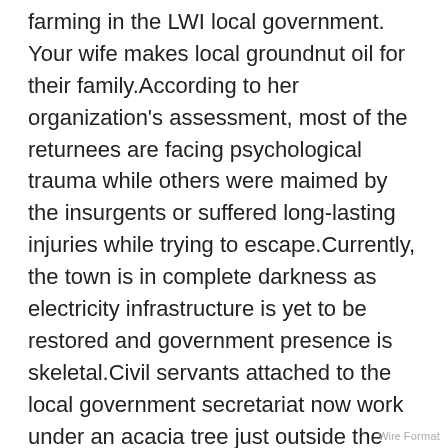farming in the LWI local government. Your wife makes local groundnut oil for their family. According to her organization's assessment, most of the returnees are facing psychological trauma while others were maimed by the insurgents or suffered long-lasting injuries while trying to escape.Currently, the town is in complete darkness as electricity infrastructure is yet to be restored and government presence is skeletal.Civil servants attached to the local government secretariat now work under an acacia tree just outside the ruins of their former offices.
David Ishaye, a pastor whose church was burnt down by the insurgents said: “How do you want us to move on from what happened in Michika, when